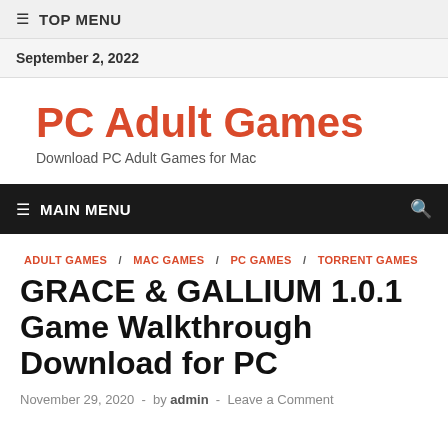≡ TOP MENU
September 2, 2022
PC Adult Games
Download PC Adult Games for Mac
≡ MAIN MENU
ADULT GAMES / MAC GAMES / PC GAMES / TORRENT GAMES
GRACE & GALLIUM 1.0.1 Game Walkthrough Download for PC
November 29, 2020  -  by admin  -  Leave a Comment